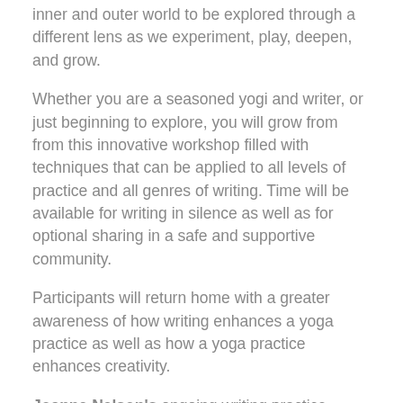inner and outer world to be explored through a different lens as we experiment, play, deepen, and grow.
Whether you are a seasoned yogi and writer, or just beginning to explore, you will grow from from this innovative workshop filled with techniques that can be applied to all levels of practice and all genres of writing. Time will be available for writing in silence as well as for optional sharing in a safe and supportive community.
Participants will return home with a greater awareness of how writing enhances a yoga practice as well as how a yoga practice enhances creativity.
Joanne Nelson's ongoing writing practice focuses on creative nonfiction, essays, commentaries on craft, reviews, and the occasional poem. In addition, Joanne is certified by the McLean Meditation Institute as a meditation and mindfulness teacher. The classes, workshops, and retreats that she leads have a solid